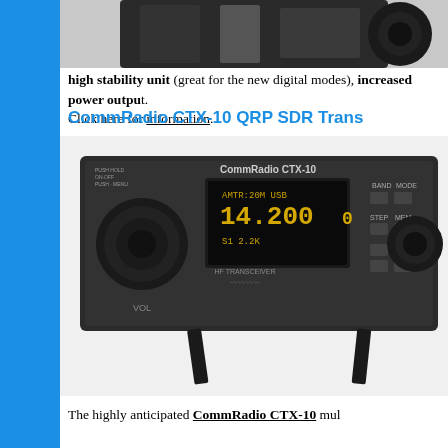[Figure (photo): Partial top view of a radio device, cropped at top of page]
high stability unit (great for the new digital modes), increased power output.
Click here for information.
CommRadio CTX-10 QRP SDR Trans...
[Figure (photo): CommRadio CTX-10 HF transceiver radio device showing front panel with display reading 14.200 USB, knobs, and buttons, displayed at an angle on a stand]
The highly anticipated CommRadio CTX-10 mul...